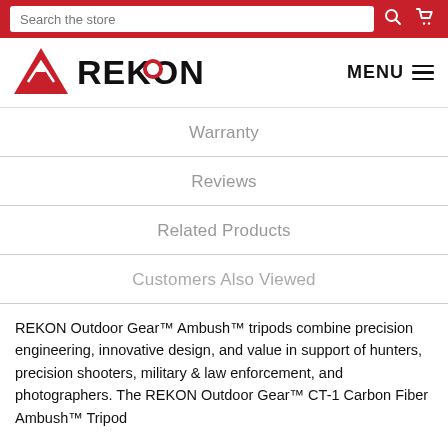Search the store
[Figure (logo): REKON outdoor gear logo with red mountain/triangle icon and REKON text in black]
MENU
Warranty
Reviews
Related Products
Customers Also Viewed
REKON Outdoor Gear™ Ambush™ tripods combine precision engineering, innovative design, and value in support of hunters, precision shooters, military & law enforcement, and photographers. The REKON Outdoor Gear™ CT-1 Carbon Fiber Ambush™ Tripod